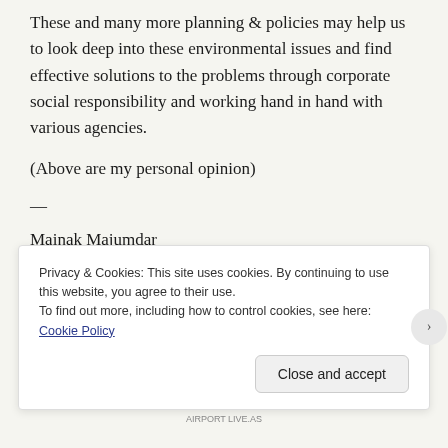These and many more planning & policies may help us to look deep into these environmental issues and find effective solutions to the problems through corporate social responsibility and working hand in hand with various agencies.
(Above are my personal opinion)
—
Mainak Majumdar
Writer is winner of Two Gold Medals in Master of Environmental Sciences from Bangalore University and is currently working in this area of Disaster Management and Environment for over 13 years...
Privacy & Cookies: This site uses cookies. By continuing to use this website, you agree to their use.
To find out more, including how to control cookies, see here: Cookie Policy